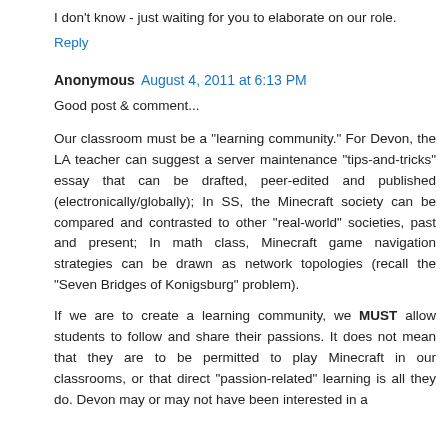I don't know - just waiting for you to elaborate on our role.
Reply
Anonymous  August 4, 2011 at 6:13 PM
Good post & comment...
Our classroom must be a "learning community." For Devon, the LA teacher can suggest a server maintenance "tips-and-tricks" essay that can be drafted, peer-edited and published (electronically/globally); In SS, the Minecraft society can be compared and contrasted to other "real-world" societies, past and present; In math class, Minecraft game navigation strategies can be drawn as network topologies (recall the "Seven Bridges of Konigsburg" problem).
If we are to create a learning community, we MUST allow students to follow and share their passions. It does not mean that they are to be permitted to play Minecraft in our classrooms, or that direct "passion-related" learning is all they do. Devon may or may not have been interested in a